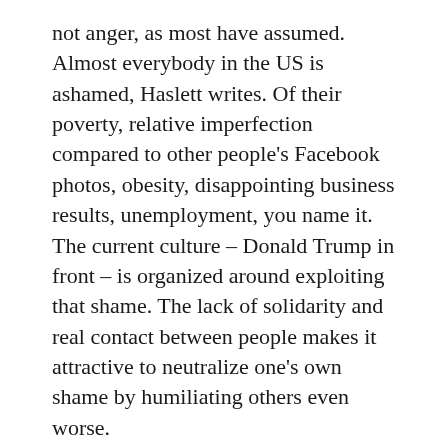not anger, as most have assumed. Almost everybody in the US is ashamed, Haslett writes. Of their poverty, relative imperfection compared to other people's Facebook photos, obesity, disappointing business results, unemployment, you name it. The current culture – Donald Trump in front – is organized around exploiting that shame. The lack of solidarity and real contact between people makes it attractive to neutralize one's own shame by humiliating others even worse.
I see a lot of that happening on Twitter. Someone says something, and another verbally attacks him – or more often: her – brutally. This happens in a way that in common